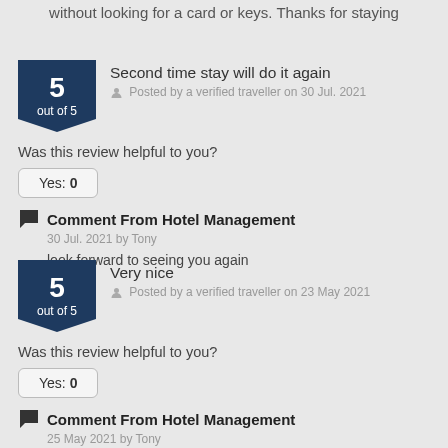without looking for a card or keys. Thanks for staying
Second time stay will do it again
Posted by a verified traveller on 30 Jul. 2021
Was this review helpful to you?
Yes: 0
Comment From Hotel Management
30 Jul. 2021 by Tony
look forward to seeing you again
Very nice
Posted by a verified traveller on 23 May 2021
Was this review helpful to you?
Yes: 0
Comment From Hotel Management
25 May 2021 by Tony